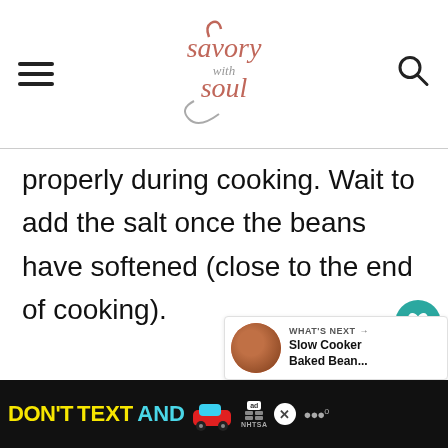Savory with Soul
properly during cooking. Wait to add the salt once the beans have softened (close to the end of cooking).
[Figure (infographic): Floating action buttons: heart/like button with teal background (count: 5), and share button with light background]
[Figure (infographic): What's Next card with image of baked beans in bowl, label 'WHAT'S NEXT ->' and title 'Slow Cooker Baked Bean...']
[Figure (infographic): Advertisement banner: DON'T TEXT AND [car emoji] ad with NHTSA label on black background]